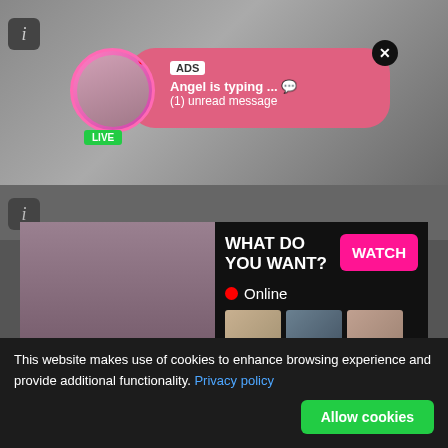[Figure (screenshot): Adult website screenshot with ads, live chat notification bubble showing 'ADS Angel is typing ... (1) unread message' with LIVE badge, main ad panel showing 'WHAT DO YOU WANT? WATCH Online' with thumbnail images and text 'Cumming, ass fucking, squirt or... ADS', FetishNetwork and Live Sexy Models labels, Powered By ExoClick branding]
ADS
Angel is typing ... 💬
(1) unread message
WHAT DO YOU WANT?
WATCH
Online
Cumming, ass fucking, squirt or...
• ADS
FetishNetwor
Live Sexy Models 🔞
Powered By exoClick
This website makes use of cookies to enhance browsing experience and provide additional functionality. Privacy policy
Allow cookies